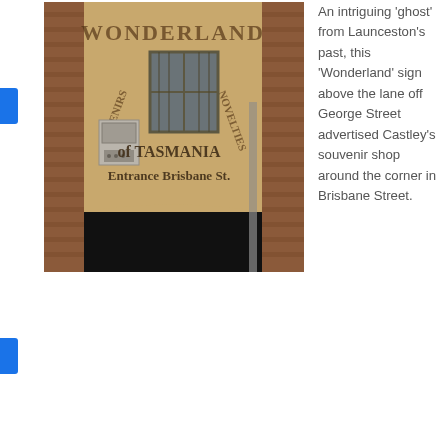[Figure (photo): Photograph of a building facade in a laneway showing faded painted signage reading 'WONDERLAND of TASMANIA Entrance Brisbane St.' with 'SOUVENIRS' and 'NOVELTIES' written diagonally on either side. The building has brick walls on sides, a barred window, and a dark entrance below.]
An intriguing 'ghost' from Launceston's past, this 'Wonderland' sign above the lane off George Street advertised Castley's souvenir shop around the corner in Brisbane Street.